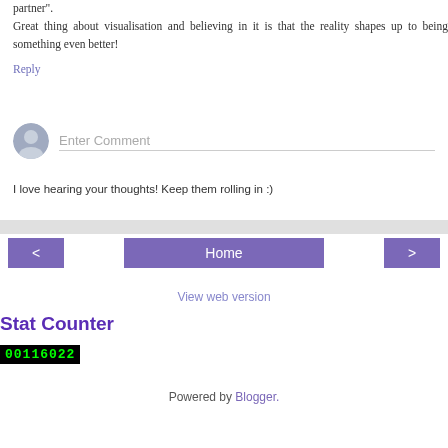partner". Great thing about visualisation and believing in it is that the reality shapes up to being something even better!
Reply
Enter Comment
I love hearing your thoughts! Keep them rolling in :)
Home
View web version
Stat Counter
00116022
Powered by Blogger.